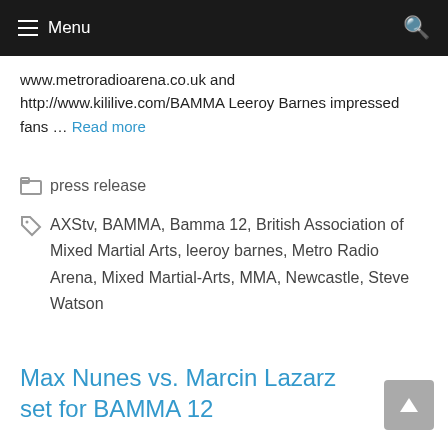Menu
www.metroradioarena.co.uk and http://www.kililive.com/BAMMA Leeroy Barnes impressed fans … Read more
press release
AXStv, BAMMA, Bamma 12, British Association of Mixed Martial Arts, leeroy barnes, Metro Radio Arena, Mixed Martial-Arts, MMA, Newcastle, Steve Watson
Max Nunes vs. Marcin Lazarz set for BAMMA 12